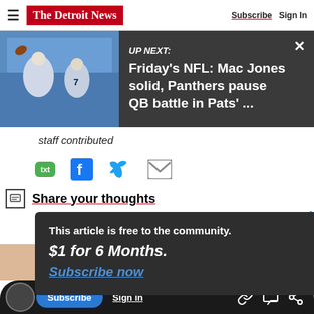The Detroit News — Subscribe | Sign In
[Figure (screenshot): UP NEXT banner showing NFL football players with text: Friday's NFL: Mac Jones solid, Panthers pause QB battle in Pats' ...]
staff contributed
[Figure (infographic): Social sharing icons: txt (SMS), Facebook, Twitter, Email]
Share your thoughts
This article is free to the community.
$1 for 6 Months.
Subscribe now
Subscribe | Sign in | link | comment | share